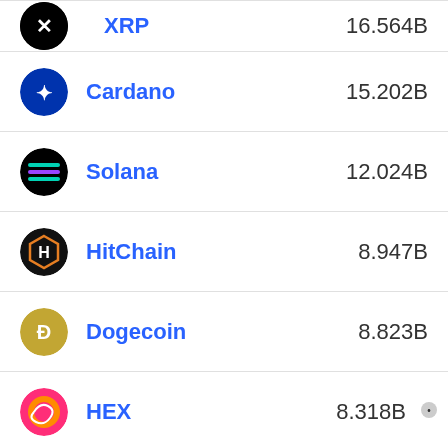| Coin | Name | Market Cap |
| --- | --- | --- |
| XRP | XRP | 16.564B |
| Cardano | Cardano | 15.202B |
| Solana | Solana | 12.024B |
| HitChain | HitChain | 8.947B |
| Dogecoin | Dogecoin | 8.823B |
| HEX | HEX | 8.318B |
Cryptocurrency Markets by TradingView
About Advisory Excellence